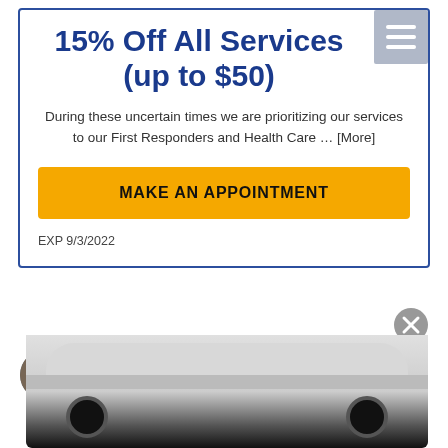15% Off All Services (up to $50)
During these uncertain times we are prioritizing our services to our First Responders and Health Care … [More]
MAKE AN APPOINTMENT
EXP 9/3/2022
[Figure (screenshot): Chat widget with yellow speech bubble saying 'Welcome, how can we help you?' with avatar icon, text input field, and a car image in the background below]